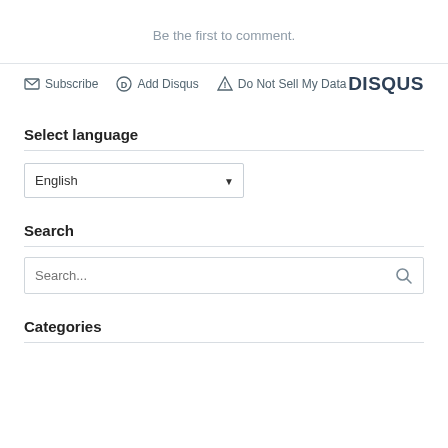Be the first to comment.
[Figure (screenshot): Disqus comment toolbar with Subscribe, Add Disqus, Do Not Sell My Data links and DISQUS logo]
Select language
[Figure (screenshot): English language dropdown selector]
Search
[Figure (screenshot): Search input box with placeholder text 'Search...' and search icon]
Categories